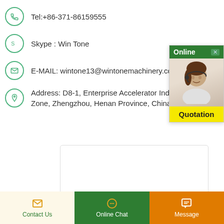Tel:+86-371-86159555
Skype : Win Tone
E-MAIL: wintone13@wintonemachinery.com
Address: D8-1, Enterprise Accelerator Industrial Park, High-Tech Zone, Zhengzhou, Henan Province, China;
[Figure (screenshot): Online chat widget showing a customer service representative photo with green 'Online' header, close button, and yellow 'Quotation' button]
[Figure (screenshot): Empty white message/text area with rounded border for user input]
[Figure (screenshot): WhatsApp icon button (green rounded square)]
[Figure (screenshot): Email icon button (green rounded square)]
Contact Us | Online Chat | Message